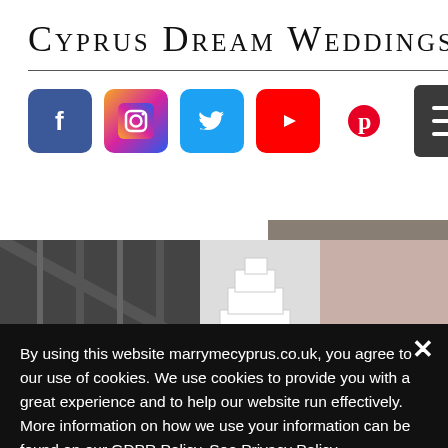Cyprus Dream Weddings
[Figure (photo): Social media icons: Facebook, Instagram, Twitter, YouTube, Pinterest, and a hamburger menu button]
[Figure (photo): Wedding photos: groom in tartan kilt, wedding cake, bridesmaids in dusty pink dresses]
Back to Town Hall Weddings
By using this website marrymecyprus.co.uk, you agree to our use of cookies. We use cookies to provide you with a great experience and to help our website run effectively. More information on how we use your information can be found on our GDPR Policy. See Privacy Policy
Cookie Settings
Accept